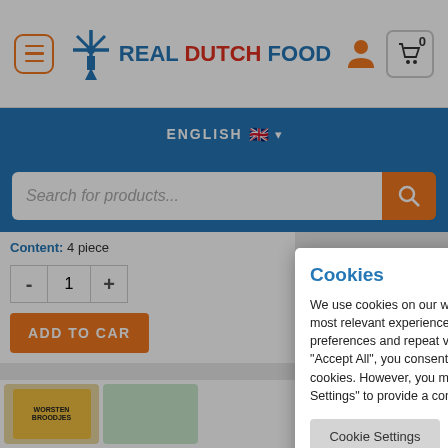[Figure (screenshot): Real Dutch Food e-commerce website header with menu button, windmill logo, and cart icon]
REAL DUTCH FOOD
ENGLISH 🇬🇧
Search for products...
Content: 4 piece
- 1 +
ADD TO CAR
Cookies
We use cookies on our website to give you the most relevant experience by remembering your preferences and repeat visits. By clicking "Accept All", you consent to the use of ALL the cookies. However, you may visit "Cookie Settings" to provide a controlled consent.
Cookie Settings
Accept All